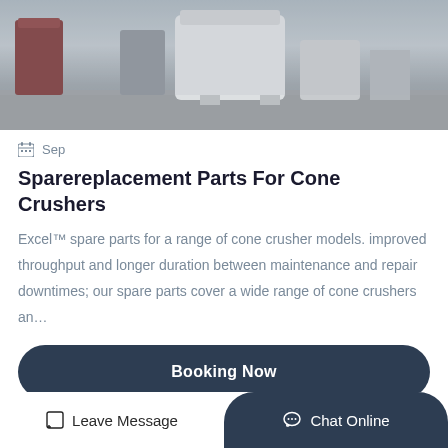[Figure (photo): Top portion of industrial machinery (cone crusher equipment) on a factory floor, white machine body visible with equipment in background]
Sep
Sparereplacement Parts For Cone Crushers
Excel™ spare parts for a range of cone crusher models. improved throughput and longer duration between maintenance and repair downtimes; our spare parts cover a wide range of cone crushers an…
Booking Now
[Figure (photo): Bottom portion of industrial facility showing metal wall/corrugated surface and red circular machinery component in lower left]
Leave Message
Chat Online